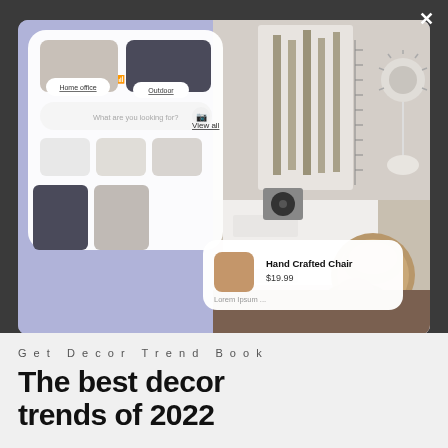[Figure (screenshot): App UI mockup screenshot showing a home decor shopping app interface overlaid on a photo of a cozy room with a wicker chair, white dresser, and wall art. The app shows categories like Home office and Outdoor, a search bar, View all button, and a product card for Hand Crafted Chair priced at $19.99 with Lorem ipsum text.]
Get Decor Trend Book
The best decor trends of 2022